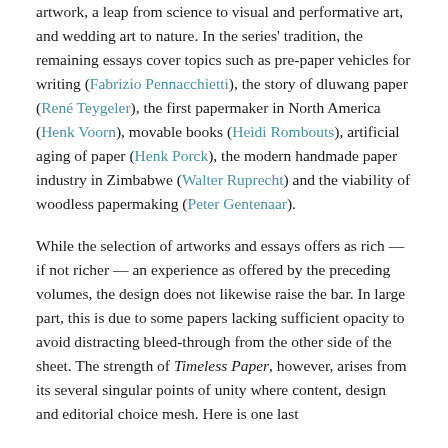artwork, a leap from science to visual and performative art, and wedding art to nature. In the series' tradition, the remaining essays cover topics such as pre-paper vehicles for writing (Fabrizio Pennacchietti), the story of dluwang paper (René Teygeler), the first papermaker in North America (Henk Voorn), movable books (Heidi Rombouts), artificial aging of paper (Henk Porck), the modern handmade paper industry in Zimbabwe (Walter Ruprecht) and the viability of woodless papermaking (Peter Gentenaar).
While the selection of artworks and essays offers as rich — if not richer — an experience as offered by the preceding volumes, the design does not likewise raise the bar. In large part, this is due to some papers lacking sufficient opacity to avoid distracting bleed-through from the other side of the sheet. The strength of Timeless Paper, however, arises from its several singular points of unity where content, design and editorial choice mesh. Here is one last